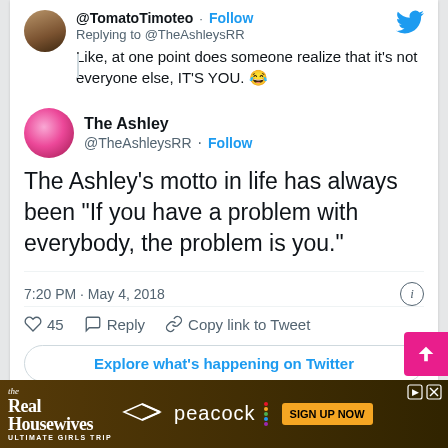@TomatoTimoteo · Follow
Replying to @TheAshleysRR
Like, at one point does someone realize that it's not everyone else, IT'S YOU. 😂
The Ashley @TheAshleysRR · Follow
The Ashley's motto in life has always been "If you have a problem with everybody, the problem is you."
7:20 PM · May 4, 2018
♡ 45   Reply   Copy link to Tweet
Explore what's happening on Twitter
[Figure (screenshot): The Real Housewives Ultimate Girls Trip advertisement with Peacock logo and SIGN UP NOW button]